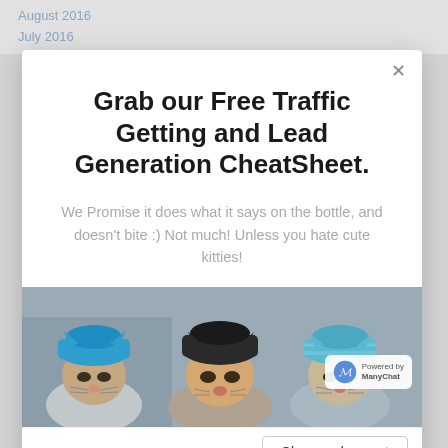August 2016
July 2016
Grab our Free Traffic Getting and Lead Generation CheatSheet.
We Promise it does what it says on the bottle, and doesn't bite :) Not much! Unless you hate cute kitties!
[Figure (photo): Three cats wearing knitted hats/hoods — one blue, one black, one blue-striped — sitting side by side looking sleepy or relaxed]
Close and accept